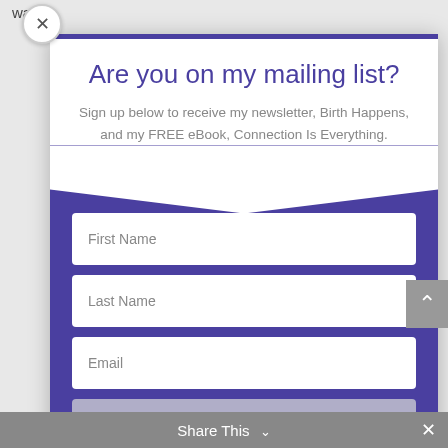way.
Are you on my mailing list?
Sign up below to receive my newsletter, Birth Happens, and my FREE eBook, Connection Is Everything.
First Name
Last Name
Email
SUBSCRIBE!
Share This